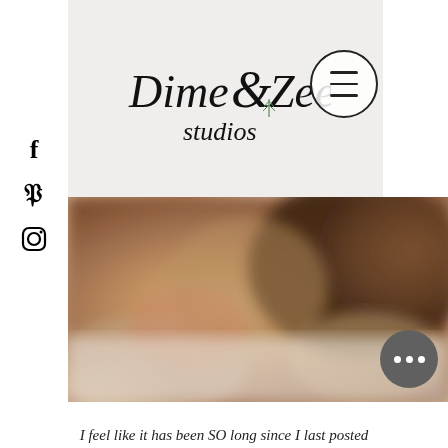[Figure (logo): Dime & Zee Studios logo in script/handwritten font with a small leaf/fern icon]
[Figure (photo): Blurred photograph of people, likely a studio session, warm brown tones]
I feel like it has been SO long since I last posted